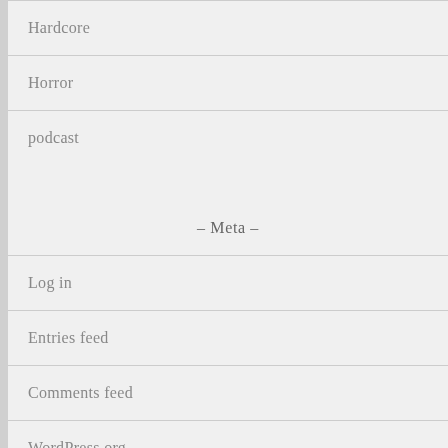Hardcore
Horror
podcast
- Meta -
Log in
Entries feed
Comments feed
WordPress.org